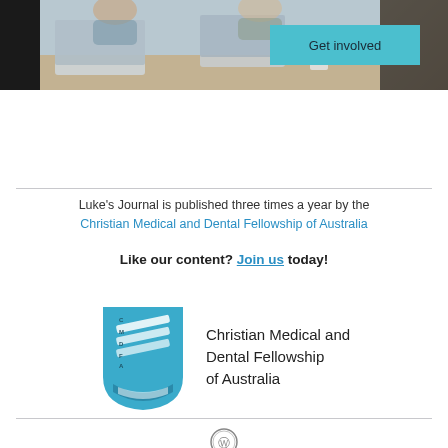[Figure (photo): Photo of people working at a table with laptops and a coffee cup, with a teal 'Get involved' button overlay]
Luke's Journal is published three times a year by the Christian Medical and Dental Fellowship of Australia
Like our content? Join us today!
[Figure (logo): CMDFA shield logo in blue with text 'Christian Medical and Dental Fellowship of Australia']
[Figure (logo): WordPress circular icon]